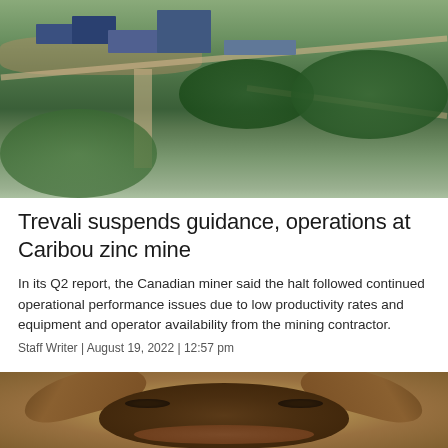[Figure (photo): Aerial view of Caribou zinc mine showing industrial buildings, roads, and surrounding boreal forest]
Trevali suspends guidance, operations at Caribou zinc mine
In its Q2 report, the Canadian miner said the halt followed continued operational performance issues due to low productivity rates and equipment and operator availability from the mining contractor.
Staff Writer | August 19, 2022 | 12:57 pm
[Figure (photo): Close-up front-facing photograph of a bronze bull sculpture]